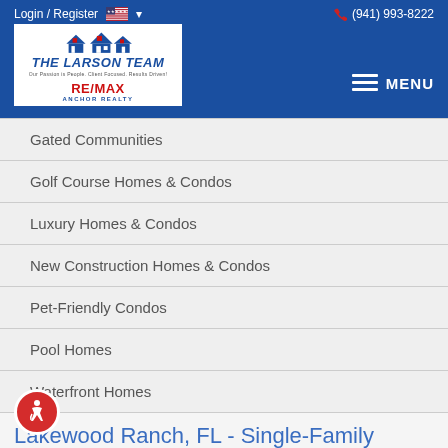Login / Register  (941) 993-8222
[Figure (logo): The Larson Team RE/MAX Anchor Realty logo with house illustration]
Gated Communities
Golf Course Homes & Condos
Luxury Homes & Condos
New Construction Homes & Condos
Pet-Friendly Condos
Pool Homes
Waterfront Homes
Lakewood Ranch, FL - Single-Family Homes